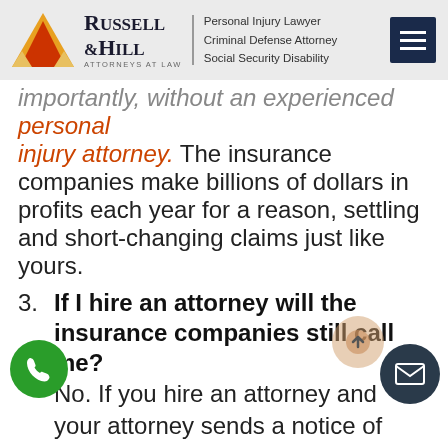Russell & Hill | Personal Injury Lawyer | Criminal Defense Attorney | Social Security Disability
importantly, without an experienced personal injury attorney. The insurance companies make billions of dollars in profits each year for a reason, settling and short-changing claims just like yours.
3. If I hire an attorney will the insurance companies still call me? No. If you hire an attorney and your attorney sends a notice of representation to the other insurance company, they are not permitted to contact you, ever. Your own insurance company can still contact you, the often aggressive insurance representatives for this other side